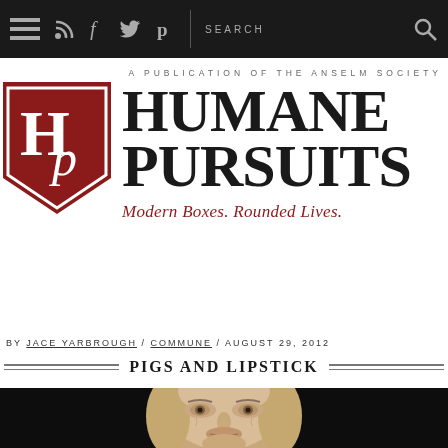[Figure (screenshot): Dark navigation bar with hamburger menu icon, RSS feed icon, Facebook icon, Twitter icon, Pinterest icon, then a vertical divider, SEARCH label, and search magnifier icon]
A PUBLICATION OF THE ANSELM SOCIETY
[Figure (logo): Humane Pursuits logo: dark red/maroon shield with HP letters, beside large bold serif text 'HUMANE PURSUITS' and italic red script 'Modern Boxes. Rounded Lives.']
BY JACE YARBROUGH / COMMUNE / AUGUST 29, 2012
PIGS AND LIPSTICK
[Figure (photo): Close-up photo of a classical bust sculpture (marble or plaster) of an older man against a dark background, showing detailed facial features]